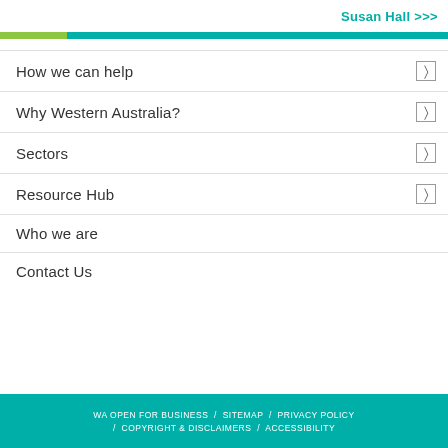Susan Hall >>>
How we can help
Why Western Australia?
Sectors
Resource Hub
Who we are
Contact Us
WA OPEN FOR BUSINESS  /  SITEMAP  /  PRIVACY POLICY  /  COPYRIGHT & DISCLAIMERS  /  ACCESSIBILITY